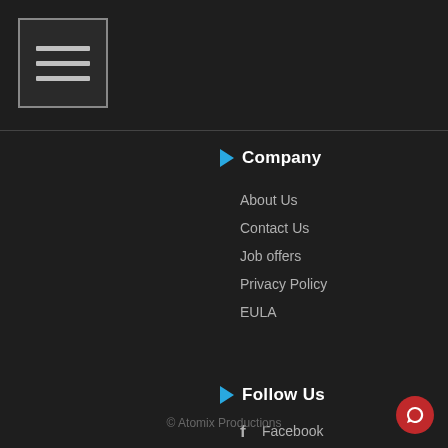[Figure (screenshot): Hamburger menu button icon with three horizontal lines inside a rounded square border]
Company
About Us
Contact Us
Job offers
Privacy Policy
EULA
Follow Us
Facebook
YouTube
Instagram #virtualdj
Twitter #virtualdj
© Atomix Productions